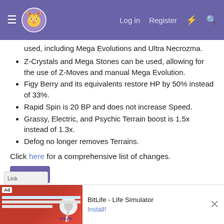≡ [Tiger logo] Log in  Register  ⚡  🔍
used, including Mega Evolutions and Ultra Necrozma.
Z-Crystals and Mega Stones can be used, allowing for the use of Z-Moves and manual Mega Evolution.
Figy Berry and its equivalents restore HP by 50% instead of 33%.
Rapid Spin is 20 BP and does not increase Speed.
Grassy, Electric, and Psychic Terrain boost is 1.5x instead of 1.3x.
Defog no longer removes Terrains.
Click here for a comprehensive list of changes.
Banlist
Viability Rankings
Sample Teams
[Figure (screenshot): Advertisement banner for BitLife - Life Simulator app with red background and Install! button]